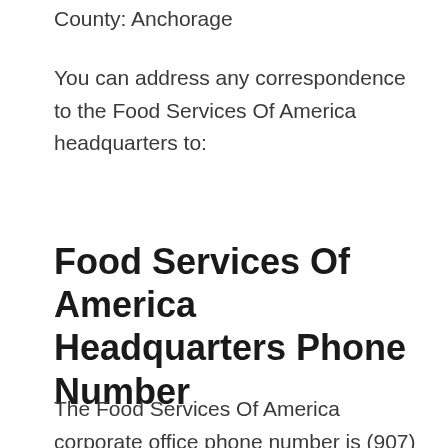County: Anchorage
You can address any correspondence to the Food Services Of America headquarters to:
Food Services Of America Headquarters Phone Number
The Food Services Of America corporate office phone number is (907) 344-9400,